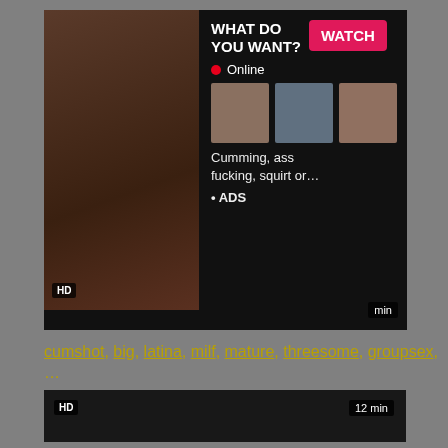[Figure (screenshot): Adult video thumbnail showing a woman, with HD badge and duration badge]
[Figure (screenshot): Advertisement panel: WHAT DO YOU WANT? WATCH button, Online status, three mini thumbnails, text 'Cumming, ass fucking, squirt or...' and ADS label]
cumshot, big, latina, milf, mature, threesome, groupsex, ...
[Figure (screenshot): Dark video player area with HD badge bottom-left and 12 min badge bottom-right]